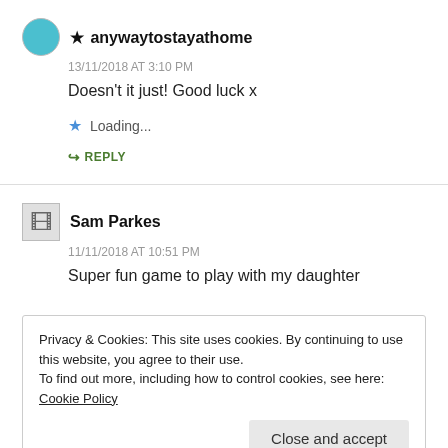★ anywaytostayathome
13/11/2018 AT 3:10 PM
Doesn't it just! Good luck x
Loading...
↳ REPLY
Sam Parkes
11/11/2018 AT 10:51 PM
Super fun game to play with my daughter
Privacy & Cookies: This site uses cookies. By continuing to use this website, you agree to their use.
To find out more, including how to control cookies, see here: Cookie Policy
Close and accept